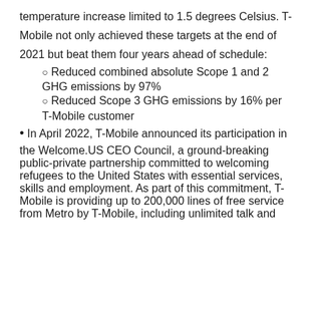temperature increase limited to 1.5 degrees Celsius. T-Mobile not only achieved these targets at the end of 2021 but beat them four years ahead of schedule:
Reduced combined absolute Scope 1 and 2 GHG emissions by 97%
Reduced Scope 3 GHG emissions by 16% per T-Mobile customer
In April 2022, T-Mobile announced its participation in the Welcome.US CEO Council, a ground-breaking public-private partnership committed to welcoming refugees to the United States with essential services, skills and employment. As part of this commitment, T-Mobile is providing up to 200,000 lines of free service from Metro by T-Mobile, including unlimited talk and